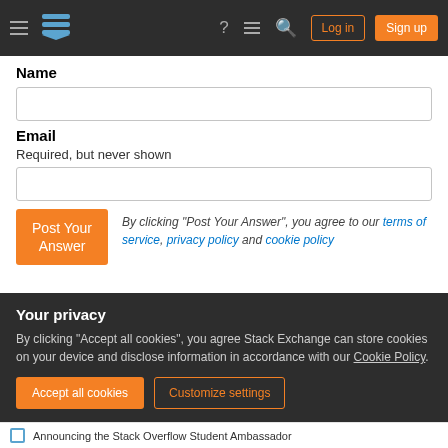Stack Exchange navigation bar with hamburger menu, logo, help, chat, search icons, Log in and Sign up buttons
Name
Email
Required, but never shown
By clicking "Post Your Answer", you agree to our terms of service, privacy policy and cookie policy
Your privacy
By clicking "Accept all cookies", you agree Stack Exchange can store cookies on your device and disclose information in accordance with our Cookie Policy.
Accept all cookies    Customize settings
Announcing the Stack Overflow Student Ambassador